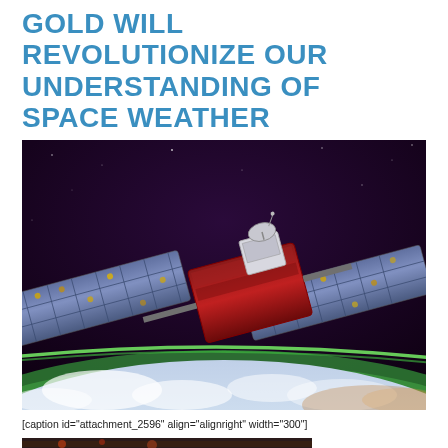GOLD WILL REVOLUTIONIZE OUR UNDERSTANDING OF SPACE WEATHER
[Figure (photo): Artist rendering of a satellite (depicted with red body and blue solar panels) orbiting Earth, with Earth's atmosphere and cloud cover visible below and dark space background above.]
[caption id="attachment_2596" align="alignright" width="300"]